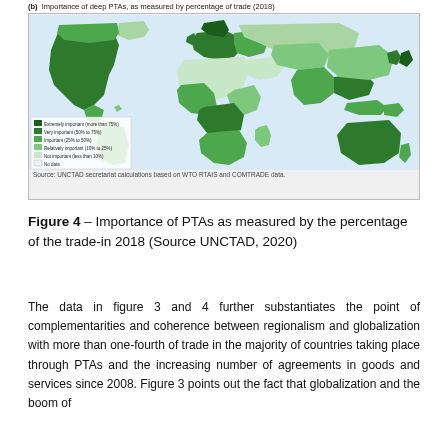[Figure (map): World choropleth map showing importance of deep PTAs as measured by percentage of trade in 2018. Countries shaded in various intensities of green from extremely important (more than 75%) to not important (less than 10%), with some countries having no data. Legend shown in lower left corner. Source: UNCTAD secretariat calculations based on WTO RTAIS and COMTRADE data.]
Figure 4 – Importance of PTAs as measured by the percentage of the trade-in 2018 (Source UNCTAD, 2020)
The data in figure 3 and 4 further substantiates the point of complementarities and coherence between regionalism and globalization with more than one-fourth of trade in the majority of countries taking place through PTAs and the increasing number of agreements in goods and services since 2008. Figure 3 points out the fact that globalization and the boom of